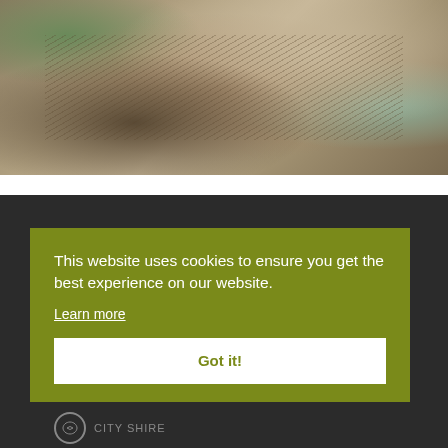[Figure (photo): Aerial photograph of a coastal beach/sandbar area showing sandy terrain with curved shoreline, tidal patterns, some vegetation in the upper left, and blue-green water visible at edges]
This website uses cookies to ensure you get the best experience on our website.
Learn more
Got it!
CITY SHIRE